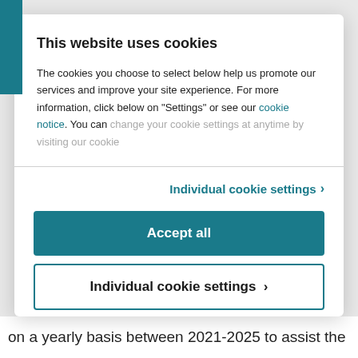This website uses cookies
The cookies you choose to select below help us promote our services and improve your site experience. For more information, click below on "Settings" or see our cookie notice. You can change your cookie settings at anytime by visiting our cookie
Individual cookie settings >
Accept all
Individual cookie settings >
Powered by Cookiebot by Usercentrics
on a yearly basis between 2021-2025 to assist the